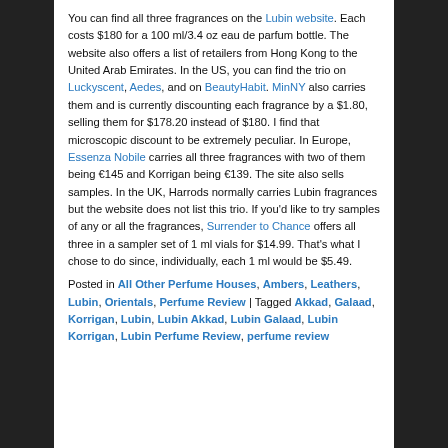You can find all three fragrances on the Lubin website. Each costs $180 for a 100 ml/3.4 oz eau de parfum bottle. The website also offers a list of retailers from Hong Kong to the United Arab Emirates. In the US, you can find the trio on Luckyscent, Aedes, and on BeautyHabit. MinNY also carries them and is currently discounting each fragrance by a $1.80, selling them for $178.20 instead of $180. I find that microscopic discount to be extremely peculiar. In Europe, Essenza Nobile carries all three fragrances with two of them being €145 and Korrigan being €139. The site also sells samples. In the UK, Harrods normally carries Lubin fragrances but the website does not list this trio. If you'd like to try samples of any or all the fragrances, Surrender to Chance offers all three in a sampler set of 1 ml vials for $14.99. That's what I chose to do since, individually, each 1 ml would be $5.49.
Posted in All Other Perfume Houses, Ambers, Leathers, Lubin, Orientals, Perfume Review | Tagged Akkad, Galaad, Korrigan, Lubin, Lubin Akkad, Lubin Galaad, Lubin Korrigan, Lubin Perfume Review, perfume review